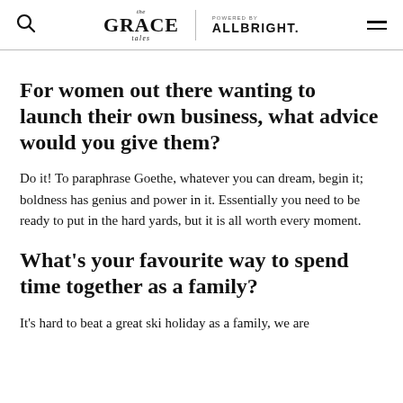the Grace tales | POWERED BY ALLBRIGHT.
For women out there wanting to launch their own business, what advice would you give them?
Do it! To paraphrase Goethe, whatever you can dream, begin it; boldness has genius and power in it. Essentially you need to be ready to put in the hard yards, but it is all worth every moment.
What's your favourite way to spend time together as a family?
It's hard to beat a great ski holiday as a family, we are